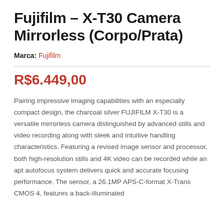Fujifilm – X-T30 Camera Mirrorless (Corpo/Prata)
Marca: Fujifilm
R$6.449,00
Pairing impressive imaging capabilities with an especially compact design, the charcoal silver FUJIFILM X-T30 is a versatile mirrorless camera distinguished by advanced stills and video recording along with sleek and intuitive handling characteristics. Featuring a revised image sensor and processor, both high-resolution stills and 4K video can be recorded while an apt autofocus system delivers quick and accurate focusing performance. The sensor, a 26.1MP APS-C-format X-Trans CMOS 4, features a back-illuminated